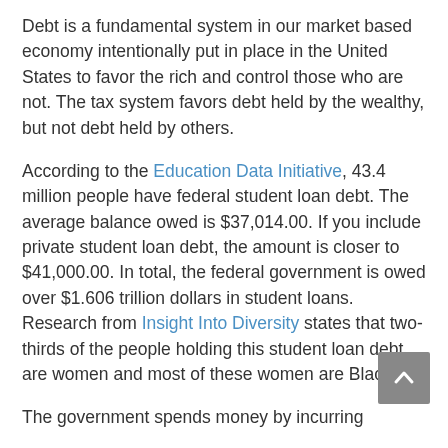Debt is a fundamental system in our market based economy intentionally put in place in the United States to favor the rich and control those who are not. The tax system favors debt held by the wealthy, but not debt held by others.
According to the Education Data Initiative, 43.4 million people have federal student loan debt. The average balance owed is $37,014.00. If you include private student loan debt, the amount is closer to $41,000.00. In total, the federal government is owed over $1.606 trillion dollars in student loans. Research from Insight Into Diversity states that two-thirds of the people holding this student loan debt are women and most of these women are Black.
The government spends money by incurring